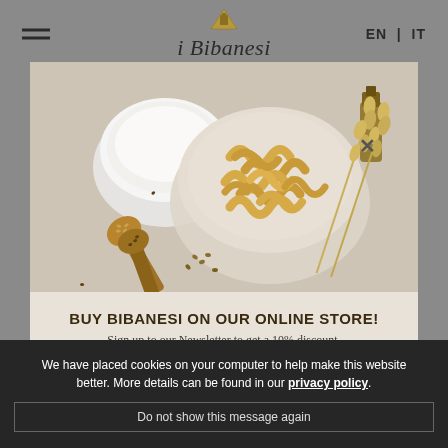i Bibanesi | EN | IT
[Figure (photo): Product photo showing a bowl of twisted breadstick snacks (bibanesi), a bowl of white flour, two wooden spoons with seeds, wheat stalks, and a bottle of oil on a light stone/linen background.]
BUY BIBANESI ON OUR ONLINE STORE!
Sign up to our Newsletter to get a 10% discount.
SIGN UP
We have placed cookies on your computer to help make this website better. More details can be found in our privacy policy.
Do not show this message again